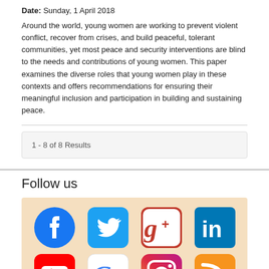Date: Sunday, 1 April 2018
Around the world, young women are working to prevent violent conflict, recover from crises, and build peaceful, tolerant communities, yet most peace and security interventions are blind to the needs and contributions of young women. This paper examines the diverse roles that young women play in these contexts and offers recommendations for ensuring their meaningful inclusion and participation in building and sustaining peace.
1 - 8 of 8 Results
Follow us
[Figure (infographic): Social media icons on a tan/peach background: Facebook (blue circle), Twitter (blue rounded square), Google+ (red/white rounded square), LinkedIn (blue rounded square), YouTube (red rounded square, partial), Google (white rounded square, partial), Instagram (purple/pink rounded square, partial), RSS feed (orange rounded square, partial)]